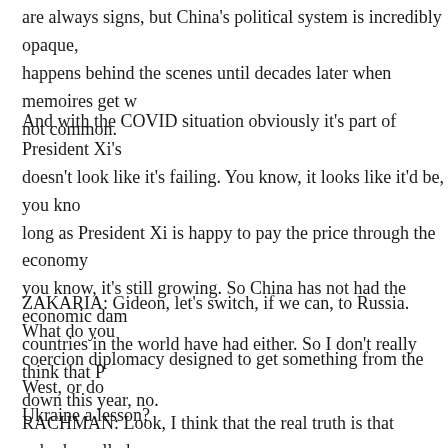are always signs, but China's political system is incredibly opaque, happens behind the scenes until decades later when memoires get written. not common.
And with the COVID situation obviously it's part of President Xi's doesn't look like it's failing. You know, it looks like it'd be, you know, long as President Xi is happy to pay the price through the economy, you know, it's still growing. So China has not had the economic damage countries in the world have had either. So I don't really think that President Xi is going down this year, no.
ZAKARIA: Gideon, let's switch, if we can, to Russia. What do you think this is — coercion diplomacy designed to get something from the West, or does he want to teach Ukraine a lesson?
RACHMAN: Look, I think that the real truth is that nobody really knows —